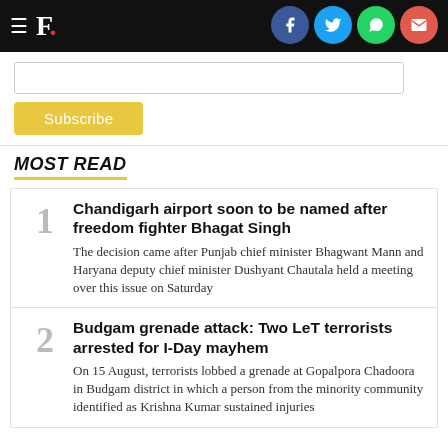F. (Firstpost logo) with social sharing icons for Facebook, Twitter, WhatsApp, Email
Subscribe (button with email input)
MOST READ
1. Chandigarh airport soon to be named after freedom fighter Bhagat Singh — The decision came after Punjab chief minister Bhagwant Mann and Haryana deputy chief minister Dushyant Chautala held a meeting over this issue on Saturday
2. Budgam grenade attack: Two LeT terrorists arrested for I-Day mayhem — On 15 August, terrorists lobbed a grenade at Gopalpora Chadoora in Budgam district in which a person from the minority community identified as Krishna Kumar sustained injuries